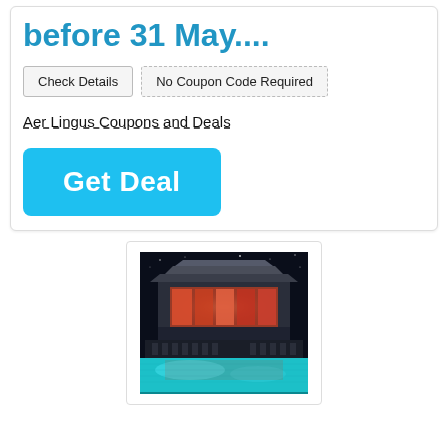before 31 May....
Check Details
No Coupon Code Required
Aer Lingus Coupons and Deals
Get Deal
[Figure (photo): Night photo of a modern resort building with illuminated pool in the foreground, taken at night with blue-green water reflection.]